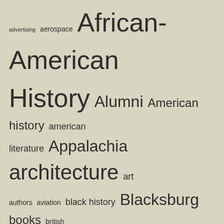[Figure (infographic): Tag cloud / word cloud containing library and archive subject terms at various font sizes indicating frequency. Terms include: advertising, aerospace, African-American History, Alumni, American history, american literature, Appalachia, architecture, art, authors, aviation, black history, Blacksburg, books, british literature, civil war, correspondence, diary, education, ephemera, events, exhibit, exhibits, food, history, IAWA, Literature, local history, maps, NASA, Rare Books, science fiction, sherwood anderson, University Archives, university history, university libraries, virginia, virginia agricultural and mechanical college, virginia agricultural and mechanical college and polytechnic institute, virginia polytechnic institute, virginia tech, vpi, women]